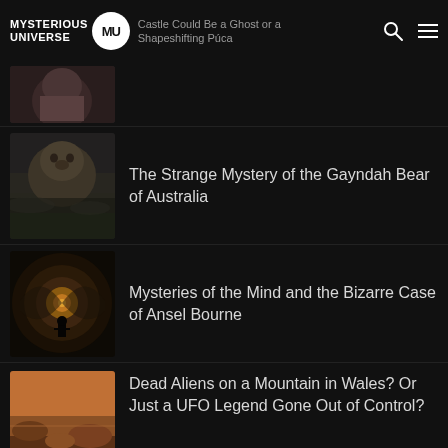Mysterious Universe — Castle Could Be a Ghost or a Shapeshifting Púca
[Figure (screenshot): Partial article thumbnail — dark fantasy creature image (top-cropped)]
The Strange Mystery of the Gayndah Bear of Australia
[Figure (photo): Dark atmospheric image of a large creature or bear in misty forest]
Mysteries of the Mind and the Bizarre Case of Ansel Bourne
[Figure (photo): Dramatic image of a tunnel of swirling water/wave with glowing light and silhouette of a person standing]
Dead Aliens on a Mountain in Wales? Or Just a UFO Legend Gone Out of Control?
[Figure (photo): Reddish-brown Mars-like rocky landscape with what appears to be a spacecraft or disc shape]
[Figure (photo): Partial bottom thumbnail — another article image, partially visible]